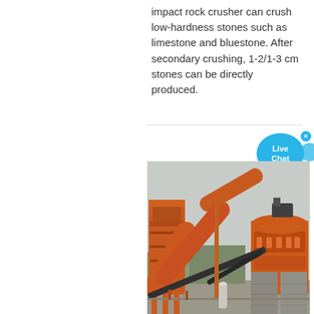impact rock crusher can crush low-hardness stones such as limestone and bluestone. After secondary crushing, 1-2/1-3 cm stones can be directly produced.
[Figure (photo): Industrial rock crushing plant showing orange-painted heavy machinery including an impact crusher, conveyor belts, large orange pipe/chute system, and concrete support structures, photographed outdoors.]